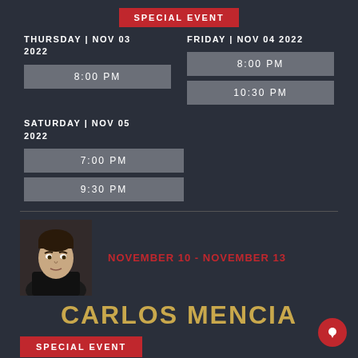SPECIAL EVENT
THURSDAY | NOV 03 2022
8:00 PM
FRIDAY | NOV 04 2022
8:00 PM
10:30 PM
SATURDAY | NOV 05 2022
7:00 PM
9:30 PM
[Figure (photo): Headshot photo of Carlos Mencia]
NOVEMBER 10 - NOVEMBER 13
CARLOS MENCIA
SPECIAL EVENT